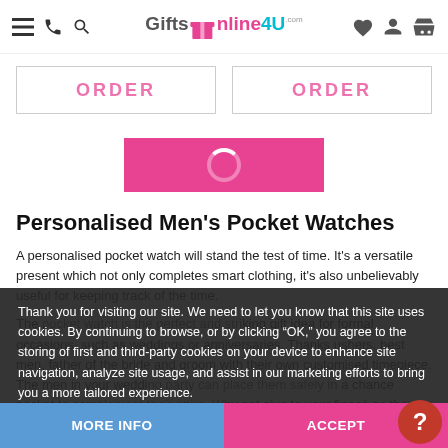GiftsOnline4U.com - navigation header with menu, phone, search, wishlist, account, basket icons
[Figure (other): Two ORDER buttons side by side in bordered boxes, text partially visible in pink]
[Figure (other): Pink LOAD MORE button with loading spinner]
Personalised Men's Pocket Watches
A personalised pocket watch will stand the test of time. It's a versatile present which not only completes smart clothing, it's also unbelievably useful for keeping track of the time.
The pocket watch is the perfect and striking gift idea for formal occasions, such as weddings or anniversaries. Thanks ushers, best men, father of the bride and groom with their own customised timepiece. The men in your wedding party can place them safely in a chain pocket to complement their attire. Why not give to your fiancé as the ideal 'see you at the alter' present to tell him
Thank you for visiting our site. We need to let you know that this site uses cookies. By continuing to browse, or by clicking "OK," you agree to the storing of first and third-party cookies on your device to enhance site navigation, analyze site usage, and assist in our marketing efforts to bring you a more tailored experience.
MORE INFO
ACCEPT